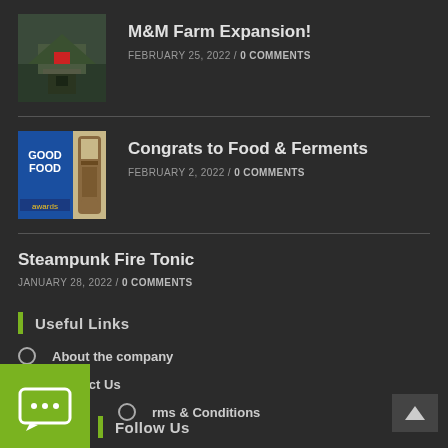[Figure (photo): Thumbnail photo of farm with aerial/road view, dark and green tones]
M&M Farm Expansion!
FEBRUARY 25, 2022 / 0 COMMENTS
[Figure (photo): Thumbnail showing Good Food Awards blue card and a brown glass bottle]
Congrats to Food & Ferments
FEBRUARY 2, 2022 / 0 COMMENTS
Steampunk Fire Tonic
JANUARY 28, 2022 / 0 COMMENTS
Useful Links
About the company
Contact Us
Terms & Conditions
Follow Us